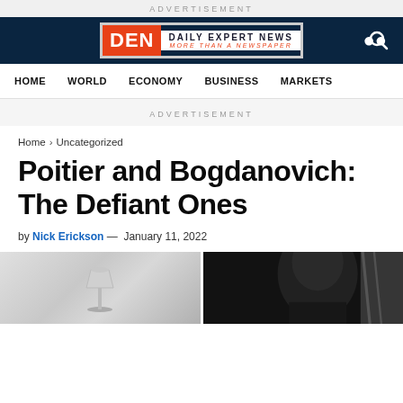ADVERTISEMENT
[Figure (logo): DEN Daily Expert News logo with orange DEN badge and tagline MORE THAN A NEWSPAPER, on dark navy header bar with search icon]
HOME  WORLD  ECONOMY  BUSINESS  MARKETS
ADVERTISEMENT
Home > Uncategorized
Poitier and Bogdanovich: The Defiant Ones
by Nick Erickson — January 11, 2022
[Figure (photo): Black and white split photo: left side shows a lamp in a room, right side shows a person's profile/silhouette in dark tones]